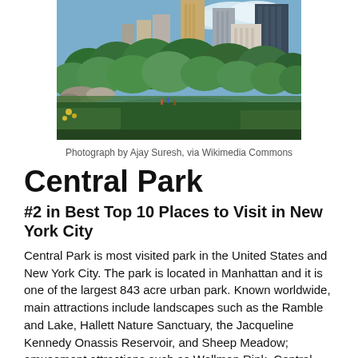[Figure (photo): Photograph of Central Park in New York City showing a pond reflecting green trees and lush vegetation, with Manhattan skyscrapers visible in the background under a partly cloudy sky.]
Photograph by Ajay Suresh, via Wikimedia Commons
Central Park
#2 in Best Top 10 Places to Visit in New York City
Central Park is most visited park in the United States and New York City. The park is located in Manhattan and it is one of the largest 843 acre urban park. Known worldwide, main attractions include landscapes such as the Ramble and Lake, Hallett Nature Sanctuary, the Jacqueline Kennedy Onassis Reservoir, and Sheep Meadow; amusement attractions such as Wollman Rink, Central